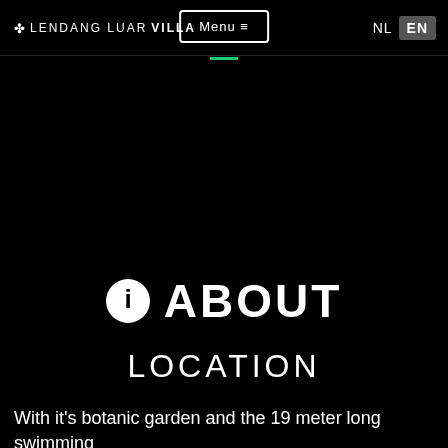✤ LENDANG LUAR VILLA   Menu ≡   NL  EN
ℹ ABOUT
LOCATION
With it's botanic garden and the 19 meter long swimming